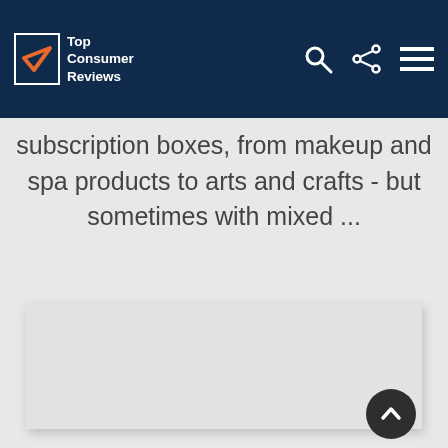Top Consumer Reviews
subscription boxes, from makeup and spa products to arts and crafts - but sometimes with mixed ...
[Figure (other): Empty light gray placeholder image box with a back-to-top circular button in the bottom right corner]